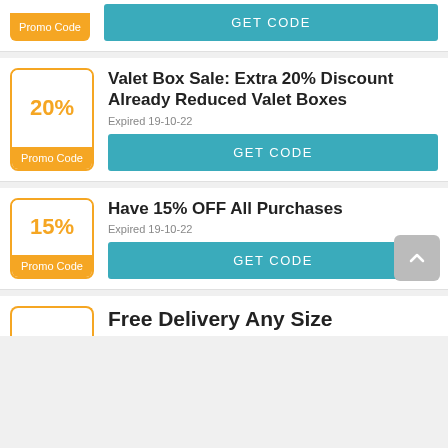[Figure (screenshot): Partial coupon card at top showing 'Promo Code' badge bottom and GET CODE teal button]
Valet Box Sale: Extra 20% Discount Already Reduced Valet Boxes
Expired 19-10-22
[Figure (screenshot): Coupon card with 20% Promo Code badge and GET CODE button for Valet Box Sale]
Have 15% OFF All Purchases
Expired 19-10-22
[Figure (screenshot): Coupon card with 15% Promo Code badge and GET CODE button for 15% OFF All Purchases, with back-to-top arrow button]
Free Delivery Any Size
[Figure (screenshot): Partial coupon card at bottom showing start of Free Delivery Any Size deal]